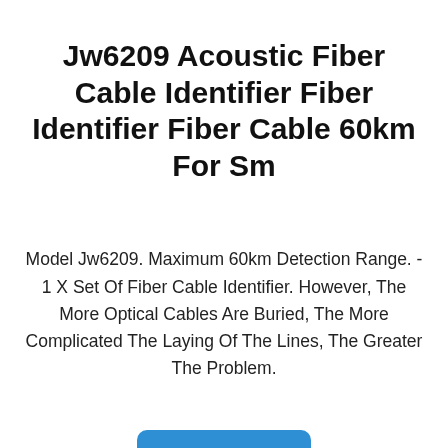Jw6209 Acoustic Fiber Cable Identifier Fiber Identifier Fiber Cable 60km For Sm
Model Jw6209. Maximum 60km Detection Range. - 1 X Set Of Fiber Cable Identifier. However, The More Optical Cables Are Buried, The More Complicated The Laying Of The Lines, The Greater The Problem.
$1540.00